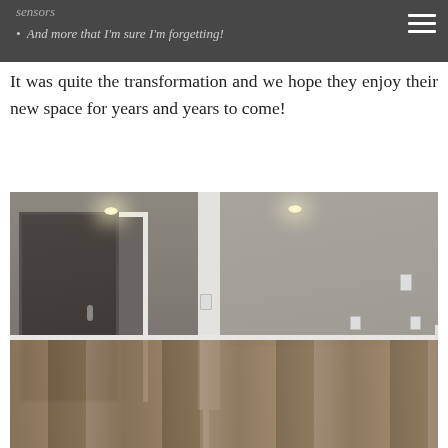sensors
And more that I'm sure I'm forgetting!
It was quite the transformation and we hope they enjoy their new space for years and years to come!
[Figure (photo): Finished basement interior showing a hallway with recessed lighting, dark hardwood-style flooring, gray painted walls, white trim and door frames, an open door on the left, a white light switch on a center wall divider, and an open room on the right with gray walls and white baseboard trim.]